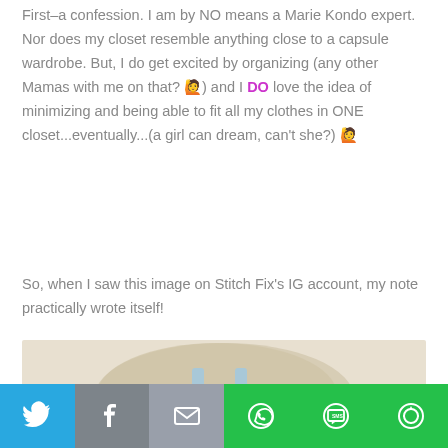First–a confession. I am by NO means a Marie Kondo expert. Nor does my closet resemble anything close to a capsule wardrobe. But, I do get excited by organizing (any other Mamas with me on that? 🙋) and I DO love the idea of minimizing and being able to fit all my clothes in ONE closet...eventually...(a girl can dream, can't she?) 🙋
So, when I saw this image on Stitch Fix's IG account, my note practically wrote itself!
[Figure (photo): Flat lay photo of clothing items on a light background: olive green pants on left, light blue tank top in center, red floral item on right, and a cream/beige knit sweater.]
[Figure (infographic): Social sharing bar with six buttons: Twitter (blue bird), Facebook (gray f), Email (gray envelope), WhatsApp (green phone), SMS (green SMS bubble), More (green circular arrows)]